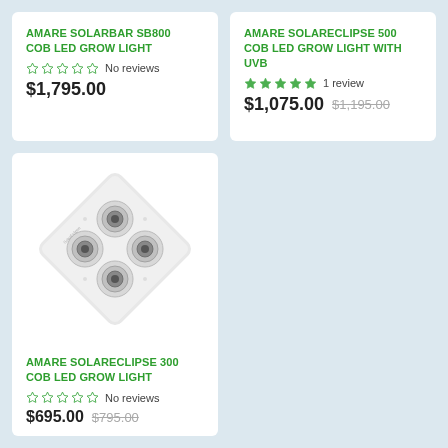AMARE SOLARBAR SB800 COB LED GROW LIGHT
No reviews
$1,795.00
AMARE SOLARECLIPSE 500 COB LED GROW LIGHT WITH UVB
1 review
$1,075.00  $1,195.00
[Figure (photo): AMARE SolarEclipse 300 COB LED grow light panel with 4 circular COB lenses arranged in a diamond pattern on a white square fixture]
AMARE SOLARECLIPSE 300 COB LED GROW LIGHT
No reviews
$695.00  $795.00